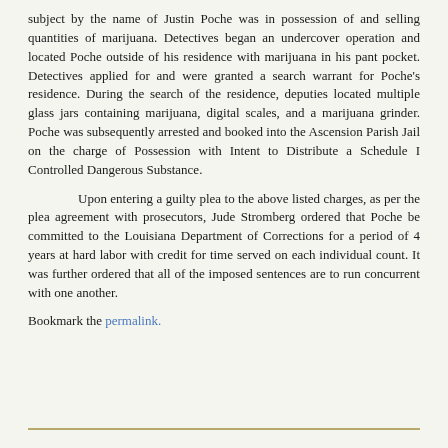subject by the name of Justin Poche was in possession of and selling quantities of marijuana. Detectives began an undercover operation and located Poche outside of his residence with marijuana in his pant pocket. Detectives applied for and were granted a search warrant for Poche's residence. During the search of the residence, deputies located multiple glass jars containing marijuana, digital scales, and a marijuana grinder. Poche was subsequently arrested and booked into the Ascension Parish Jail on the charge of Possession with Intent to Distribute a Schedule I Controlled Dangerous Substance.
Upon entering a guilty plea to the above listed charges, as per the plea agreement with prosecutors, Jude Stromberg ordered that Poche be committed to the Louisiana Department of Corrections for a period of 4 years at hard labor with credit for time served on each individual count. It was further ordered that all of the imposed sentences are to run concurrent with one another.
Bookmark the permalink.